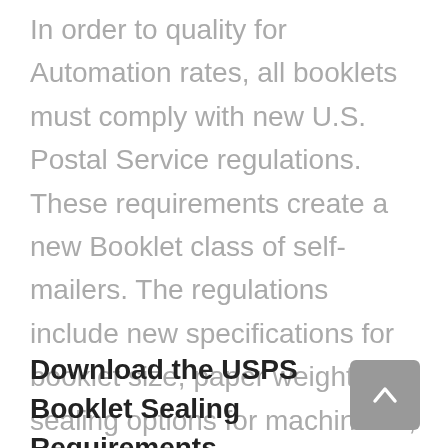In order to quality for Automation rates, all booklets must comply with new U.S. Postal Service regulations.  These requirements create a new Booklet class of self-mailers. The regulations include new specifications for booklet size, paper weight and sealing options for machinable, automation letter-size booklets.
Download the USPS Booklet Sealing Requirements